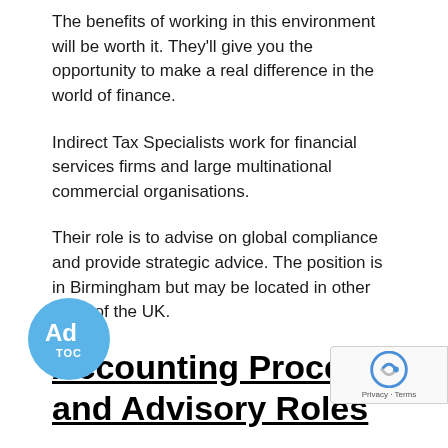The benefits of working in this environment will be worth it. They'll give you the opportunity to make a real difference in the world of finance.
Indirect Tax Specialists work for financial services firms and large multinational commercial organisations.
Their role is to advise on global compliance and provide strategic advice. The position is in Birmingham but may be located in other parts of the UK.
Accounting Process and Advisory Roles
Junior Indirect Tax specialists can perform accounting process, and advisory roles, and are often responsib...